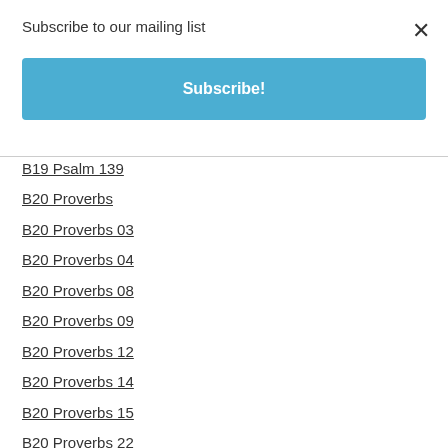Subscribe to our mailing list
×
Subscribe!
B19 Psalm 139
B20 Proverbs
B20 Proverbs 03
B20 Proverbs 04
B20 Proverbs 08
B20 Proverbs 09
B20 Proverbs 12
B20 Proverbs 14
B20 Proverbs 15
B20 Proverbs 22
B20 Proverbs 27
B20 Proverbs 31
B21 Ecclesiastes
B21 Ecclesiastes 07